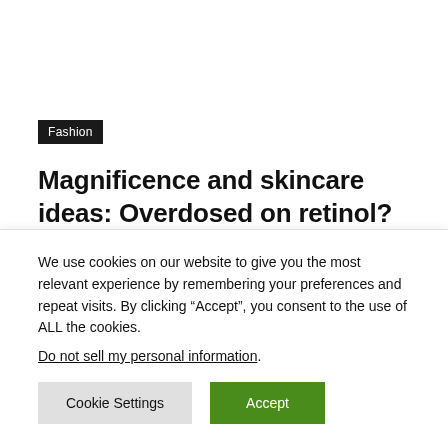Fashion
Magnificence and skincare ideas: Overdosed on retinol? Here is how one can save your pores and skin | Trend Traits
Viral Trending Content – August 13, 2022  0
We use cookies on our website to give you the most relevant experience by remembering your preferences and repeat visits. By clicking “Accept”, you consent to the use of ALL the cookies.
Do not sell my personal information.
Cookie Settings  Accept